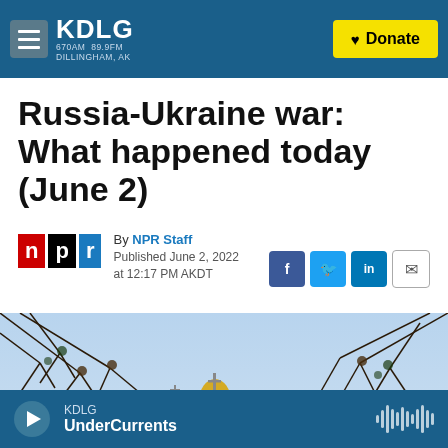KDLG 670AM 89.9FM DILLINGHAM, AK | Donate
Russia-Ukraine war: What happened today (June 2)
By NPR Staff
Published June 2, 2022 at 12:17 PM AKDT
[Figure (photo): Church domes visible through tree branches against a blue sky, related to Ukraine]
KDLG UnderCurrents